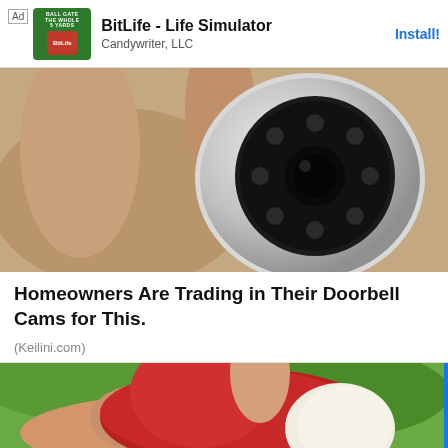[Figure (screenshot): Mobile app advertisement banner for BitLife - Life Simulator by Candywriter, LLC with an Install button]
[Figure (photo): Close-up photo of a hand holding a small round security camera with black lens and multiple infrared LEDs]
Homeowners Are Trading in Their Doorbell Cams for This.
(Keilini.com)
[Figure (photo): Close-up photo of a hand holding an open rambutan fruit showing red spiky exterior and white flesh inside, with green foliage background]